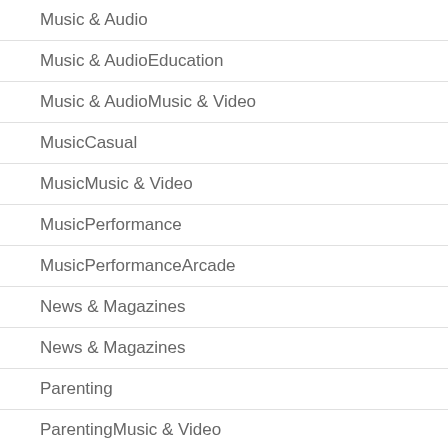Music & Audio
Music & AudioEducation
Music & AudioMusic & Video
MusicCasual
MusicMusic & Video
MusicPerformance
MusicPerformanceArcade
News & Magazines
News & Magazines
Parenting
ParentingMusic & Video
Personalization
Photography